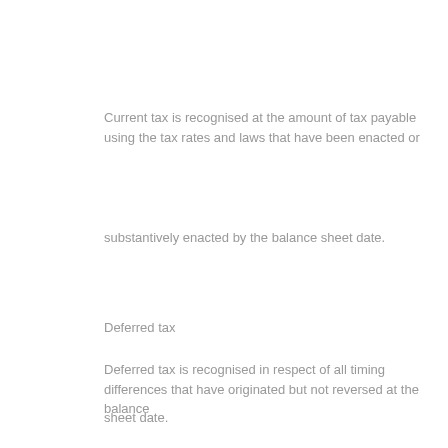Current tax is recognised at the amount of tax payable using the tax rates and laws that have been enacted or
substantively enacted by the balance sheet date.
Deferred tax
Deferred tax is recognised in respect of all timing differences that have originated but not reversed at the balance
sheet date.